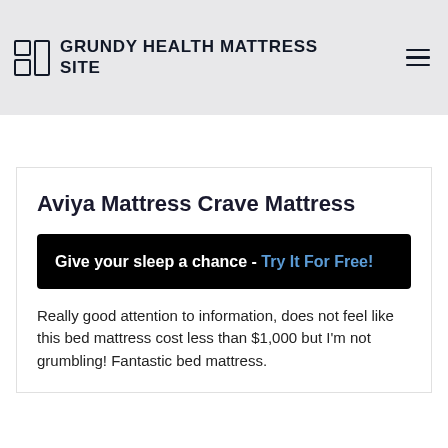GRUNDY HEALTH MATTRESS SITE
Aviya Mattress Crave Mattress
Give your sleep a chance - Try It For Free!
Really good attention to information, does not feel like this bed mattress cost less than $1,000 but I'm not grumbling! Fantastic bed mattress.